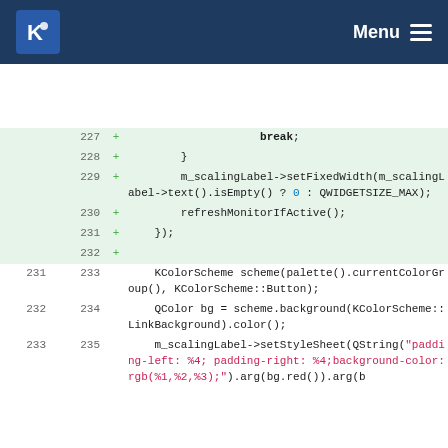KDE Menu
[Figure (screenshot): KDE application navbar with KDE logo and hamburger menu]
Code diff view showing lines 227-235 with added lines (green background) and context lines
227 + break;
228 + }
229 + m_scalingLabel->setFixedWidth(m_scalingLabel->text().isEmpty() ? 0 : QWIDGETSIZE_MAX);
230 + refreshMonitorIfActive();
231 + });
232 +
231 233 KColorScheme scheme(palette().currentColorGroup(), KColorScheme::Button);
232 234 QColor bg = scheme.background(KColorScheme::LinkBackground).color();
233 235 m_scalingLabel->setStyleSheet(QString("padding-left: %4; padding-right: %4;background-color: rgb(%1,%2,%3);").arg(bg.red()).arg(b